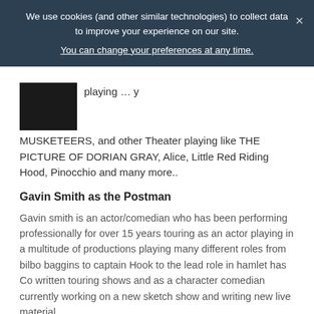We use cookies (and other similar technologies) to collect data to improve your experience on our site. You can change your preferences at any time.
MUSKETEERS, and other Theater playing like THE PICTURE OF DORIAN GRAY, Alice, Little Red Riding Hood, Pinocchio and many more..
Gavin Smith as the Postman
Gavin smith is an actor/comedian who has been performing professionally for over 15 years touring as an actor playing in a multitude of productions playing many different roles from bilbo baggins to captain Hook to the lead role in hamlet has Co written touring shows and as a character comedian currently working on a new sketch show and writing new live material
THE CREW
Jason Impey – Director of Photography